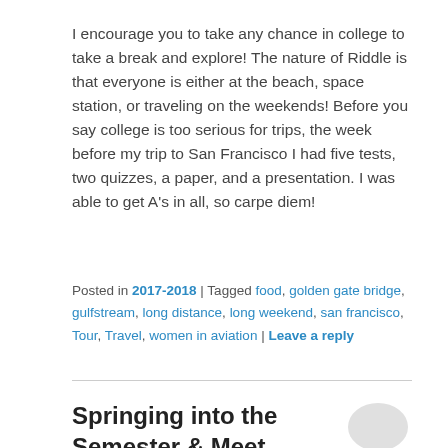I encourage you to take any chance in college to take a break and explore! The nature of Riddle is that everyone is either at the beach, space station, or traveling on the weekends! Before you say college is too serious for trips, the week before my trip to San Francisco I had five tests, two quizzes, a paper, and a presentation. I was able to get A's in all, so carpe diem!
Posted in 2017-2018 | Tagged food, golden gate bridge, gulfstream, long distance, long weekend, san francisco, Tour, Travel, women in aviation | Leave a reply
Springing into the Semester & Meet Maddie!
Posted on January 18, 2018 by Maddie